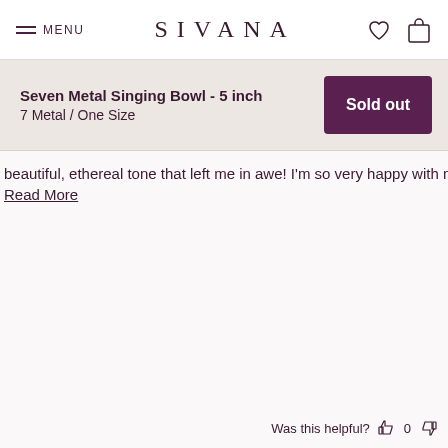MENU  SIVANA
Seven Metal Singing Bowl - 5 inch
7 Metal / One Size
Sold out
beautiful, ethereal tone that left me in awe! I'm so very happy with m
Read More
Was this helpful? 0